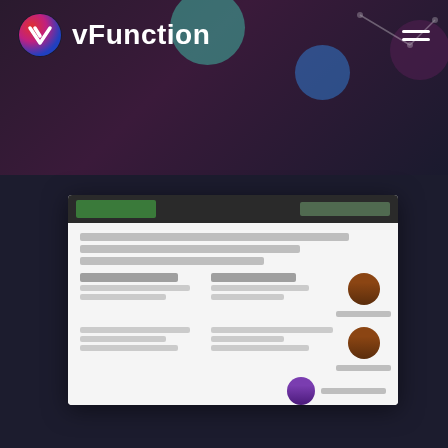[Figure (logo): vFunction company logo with circular V icon in red/white/blue gradient and white text 'vFunction']
[Figure (screenshot): Blurred screenshot of a vFunction application interface showing a data table or analysis panel with green header bar, blurred text rows, user avatars, and a blue button at bottom left. Content is intentionally blurred/obscured.]